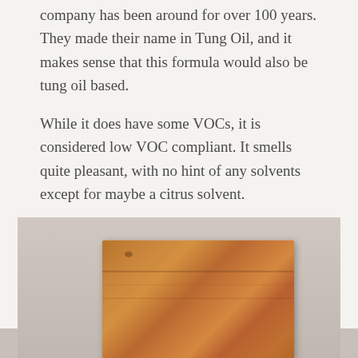company has been around for over 100 years. They made their name in Tung Oil, and it makes sense that this formula would also be tung oil based.
While it does have some VOCs, it is considered low VOC compliant. It smells quite pleasant, with no hint of any solvents except for maybe a citrus solvent.
Waterlox has a VERY detailed guide for how to apply their product on their website, so I won't belabor that aspect. I followed the application manual to the book.
[Figure (photo): A wooden board with warm brown tones showing wood grain, photographed against a light gray background.]